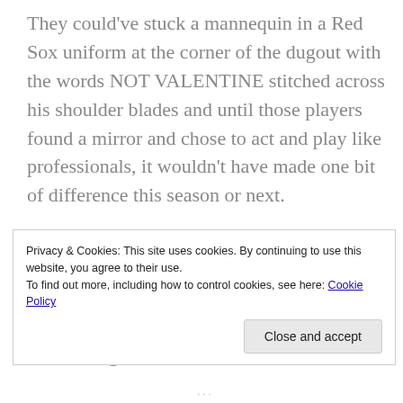They could've stuck a mannequin in a Red Sox uniform at the corner of the dugout with the words NOT VALENTINE stitched across his shoulder blades and until those players found a mirror and chose to act and play like professionals, it wouldn't have made one bit of difference this season or next.
They made a bold decision to cut ties with players who no longer wanted to be with the Red Sox or shouldn't have been with the Red Sox in the first place. Now they can move on and start again.
Privacy & Cookies: This site uses cookies. By continuing to use this website, you agree to their use.
To find out more, including how to control cookies, see here: Cookie Policy